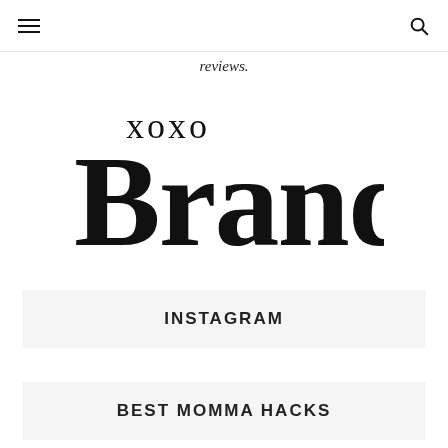≡ [menu icon] | [search icon]
reviews.
[Figure (logo): xoxo Brandiann handwritten script logo in black on white background]
INSTAGRAM
BEST MOMMA HACKS